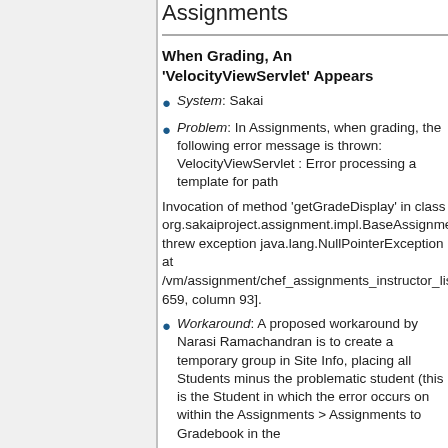Assignments
When Grading, An 'VelocityViewServlet' Appears
System: Sakai
Problem: In Assignments, when grading, the following error message is thrown: VelocityViewServlet : Error processing a template for path
Invocation of method 'getGradeDisplay' in class org.sakaiproject.assignment.impl.BaseAssignme... threw exception java.lang.NullPointerException at /vm/assignment/chef_assignments_instructor_lis... 659, column 93].
Workaround: A proposed workaround by Narasi Ramachandran is to create a temporary group in Site Info, placing all Students minus the problematic student (this is the Student in which the error occurs on within the Assignments > Assignments to Gradebook in the